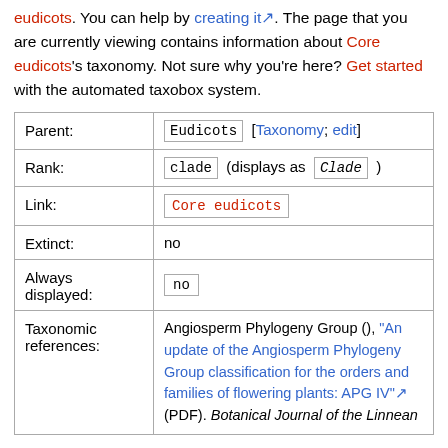eudicots. You can help by creating it. The page that you are currently viewing contains information about Core eudicots's taxonomy. Not sure why you're here? Get started with the automated taxobox system.
| Field | Value |
| --- | --- |
| Parent: | Eudicots  [Taxonomy; edit] |
| Rank: | clade  (displays as  Clade ) |
| Link: | Core eudicots |
| Extinct: | no |
| Always displayed: | no |
| Taxonomic references: | Angiosperm Phylogeny Group (????), "An update of the Angiosperm Phylogeny Group classification for the orders and families of flowering plants: APG IV" (PDF). Botanical Journal of the Linnean... |